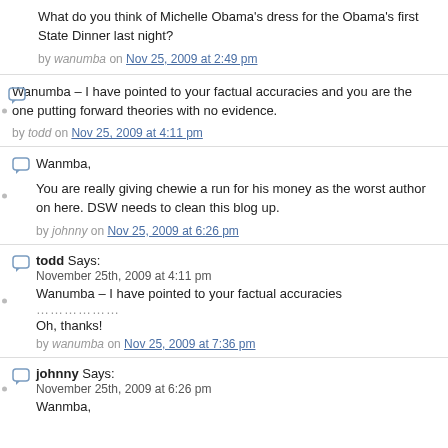What do you think of Michelle Obama's dress for the Obama's first State Dinner last night?
by wanumba on Nov 25, 2009 at 2:49 pm
Wanumba – I have pointed to your factual accuracies and you are the one putting forward theories with no evidence.
by todd on Nov 25, 2009 at 4:11 pm
Wanmba,
You are really giving chewie a run for his money as the worst author on here. DSW needs to clean this blog up.
by johnny on Nov 25, 2009 at 6:26 pm
todd Says:
November 25th, 2009 at 4:11 pm
Wanumba – I have pointed to your factual accuracies
………………
Oh, thanks!
by wanumba on Nov 25, 2009 at 7:36 pm
johnny Says:
November 25th, 2009 at 6:26 pm
Wanmba,